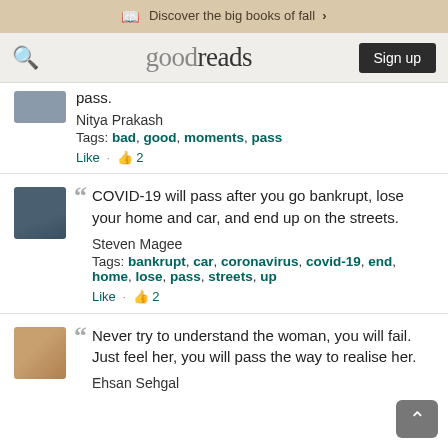Discover the big books of fall >
goodreads  Sign up
pass.
Nitya Prakash
Tags: bad, good, moments, pass
Like · 2
COVID-19 will pass after you go bankrupt, lose your home and car, and end up on the streets.
Steven Magee
Tags: bankrupt, car, coronavirus, covid-19, end, home, lose, pass, streets, up
Like · 2
Never try to understand the woman, you will fail. Just feel her, you will pass the way to realise her.
Ehsan Sehgal